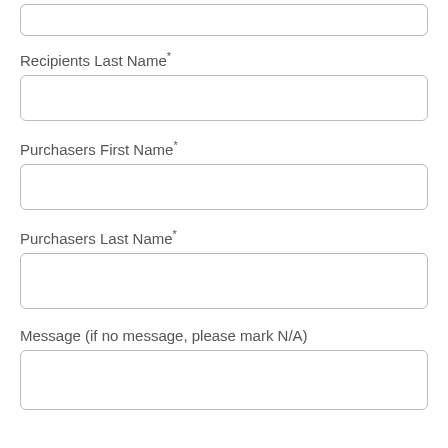[Figure (other): Empty input field box at top of page (partial, cropped)]
Recipients Last Name*
[Figure (other): Empty rectangular input field for Recipients Last Name]
Purchasers First Name*
[Figure (other): Empty rectangular input field for Purchasers First Name]
Purchasers Last Name*
[Figure (other): Empty rectangular input field for Purchasers Last Name]
Message (if no message, please mark N/A)
[Figure (other): Empty rectangular input field for Message (partial, cropped at bottom)]